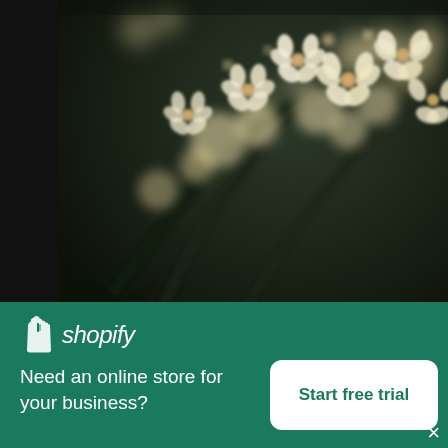[Figure (photo): Close-up blurred photo of small white flowers in a bunch against a dark background]
Small White Flowers In A Bunch
High resolution download ↓
[Figure (logo): Shopify logo with bag icon and text 'shopify']
Need an online store for your business?
Start free trial